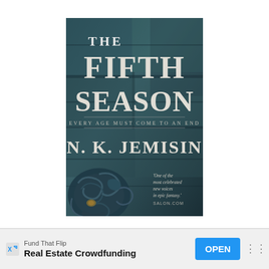[Figure (illustration): Book cover of 'The Fifth Season' by N. K. Jemisin. Dark teal/blue stone texture background with large white serif title text reading 'THE FIFTH SEASON'. Subtitle reads 'EVERY AGE MUST COME TO AN END'. Author name 'N. K. JEMISIN' in large white serif text. Lower left shows ornate stone scroll/architectural detail in dark blue-grey. Lower right has italic quote: 'One of the most celebrated new voices in epic fantasy.' SALON.COM]
Fund That Flip
Real Estate Crowdfunding
OPEN